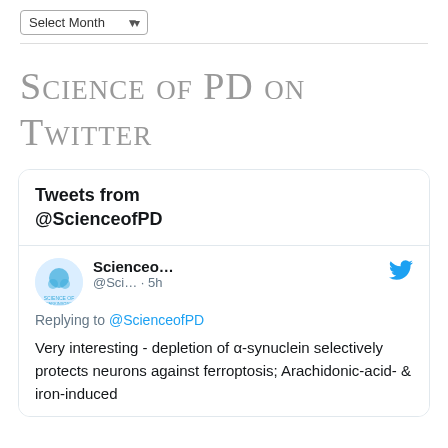Select Month
Science of PD on Twitter
[Figure (screenshot): Embedded Twitter widget showing tweets from @ScienceofPD, with a tweet replying to @ScienceofPD about depletion of α-synuclein selectively protecting neurons against ferroptosis; Arachidonic-acid- & iron-induced]
Tweets from @ScienceofPD
Replying to @ScienceofPD
Very interesting - depletion of α-synuclein selectively protects neurons against ferroptosis; Arachidonic-acid- & iron-induced